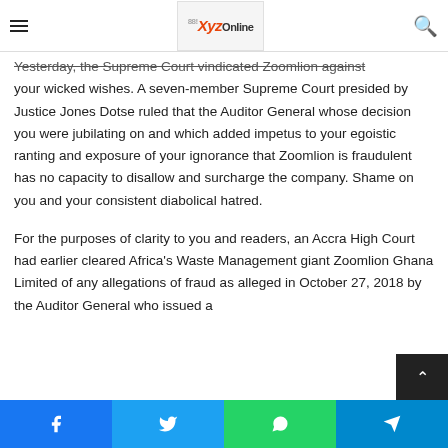XyZOnline logo and navigation header
Yesterday, the Supreme Court vindicated Zoomlion against your wicked wishes. A seven-member Supreme Court presided by Justice Jones Dotse ruled that the Auditor General whose decision you were jubilating on and which added impetus to your egoistic ranting and exposure of your ignorance that Zoomlion is fraudulent has no capacity to disallow and surcharge the company. Shame on you and your consistent diabolical hatred.
For the purposes of clarity to you and readers, an Accra High Court had earlier cleared Africa's Waste Management giant Zoomlion Ghana Limited of any allegations of fraud as alleged in October 27, 2018 by the Auditor General who issued a
Facebook Twitter WhatsApp Telegram share buttons